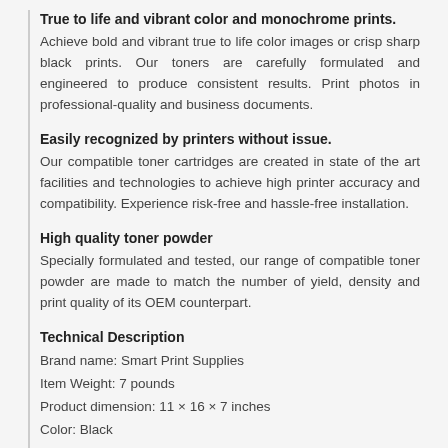True to life and vibrant color and monochrome prints.
Achieve bold and vibrant true to life color images or crisp sharp black prints. Our toners are carefully formulated and engineered to produce consistent results. Print photos in professional-quality and business documents.
Easily recognized by printers without issue.
Our compatible toner cartridges are created in state of the art facilities and technologies to achieve high printer accuracy and compatibility. Experience risk-free and hassle-free installation.
High quality toner powder
Specially formulated and tested, our range of compatible toner powder are made to match the number of yield, density and print quality of its OEM counterpart.
Technical Description
Brand name: Smart Print Supplies
Item Weight: 7 pounds
Product dimension: 11 × 16 × 7 inches
Color: Black
PartNumber: T620
Material Type: Toner Powder